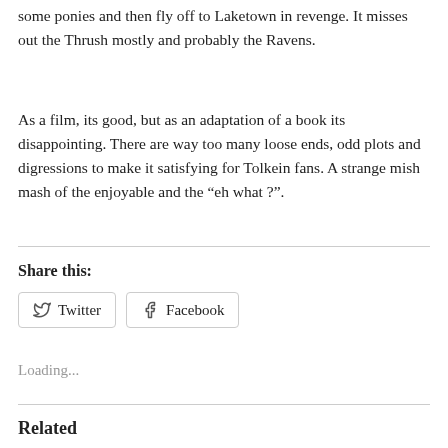some ponies and then fly off to Laketown in revenge. It misses out the Thrush mostly and probably the Ravens.
As a film, its good, but as an adaptation of a book its disappointing. There are way too many loose ends, odd plots and digressions to make it satisfying for Tolkein fans. A strange mish mash of the enjoyable and the “eh what ?”.
Share this:
Loading...
Related